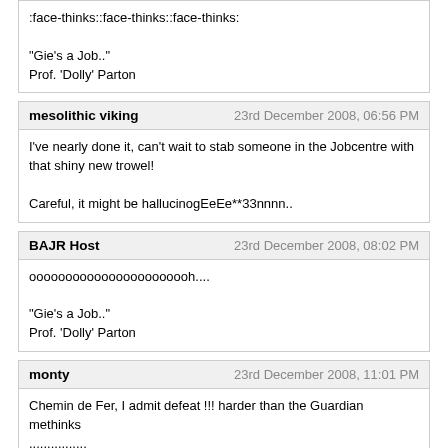:face-thinks::face-thinks::face-thinks:

"Gie's a Job.."
Prof. 'Dolly' Parton
mesolithic viking | 23rd December 2008, 06:56 PM
I've nearly done it, can't wait to stab someone in the Jobcentre with that shiny new trowel!

Careful, it might be hallucinogEeEe**33nnnn..
BAJR Host | 23rd December 2008, 08:02 PM
ooooooooooooooooooooooh....

"Gie's a Job.."
Prof. 'Dolly' Parton
monty | 23rd December 2008, 11:01 PM
Chemin de Fer, I admit defeat !!! harder than the Guardian methinks
................
BAJR Host | 24th December 2008, 01:29 PM
don't give up! think of the nice shiney trowel, you may never get to use!